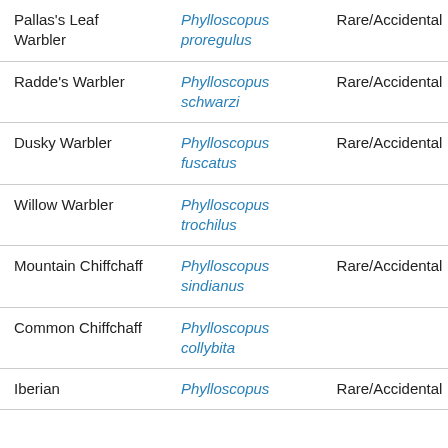| Common Name | Scientific Name | Status |
| --- | --- | --- |
| Pallas's Leaf Warbler | Phylloscopus proregulus | Rare/Accidental |
| Radde's Warbler | Phylloscopus schwarzi | Rare/Accidental |
| Dusky Warbler | Phylloscopus fuscatus | Rare/Accidental |
| Willow Warbler | Phylloscopus trochilus |  |
| Mountain Chiffchaff | Phylloscopus sindianus | Rare/Accidental |
| Common Chiffchaff | Phylloscopus collybita |  |
| Iberian | Phylloscopus | Rare/Accidental |